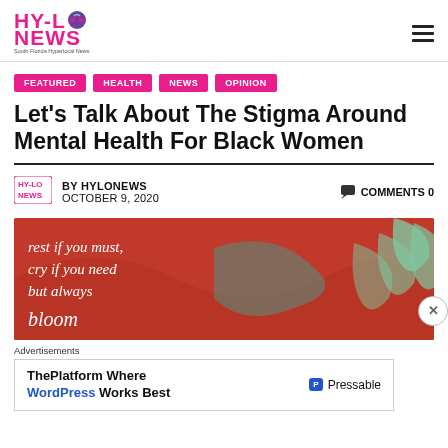HY-LO NEWS — South Florida Hyperlocal News
FEATURED
HEALTH
NEWS
OPINION
Let's Talk About The Stigma Around Mental Health For Black Women
BY HYLONEWS — OCTOBER 9, 2020 — COMMENTS 0
[Figure (illustration): Orange/red illustrated background with text 'rest if you must, cry if you need, but always bloom' in white italic font, with teal leaf decoration on the right side]
Advertisements
ThePlatform Where WordPress Works Best — Pressable